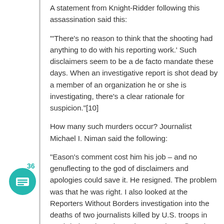A statement from Knight-Ridder following this assassination said this:
'"There's no reason to think that the shooting had anything to do with his reporting work.' Such disclaimers seem to be a de facto mandate these days. When an investigative report is shot dead by a member of an organization he or she is investigating, there's a clear rationale for suspicion."[10]
How many such murders occur? Journalist Michael I. Niman said the following:
"Eason's comment cost him his job – and no genuflecting to the god of disclaimers and apologies could save it. He resigned. The problem was that he was right. I also looked at the Reporters Without Borders investigation into the deaths of two journalists killed by U.S. troops in Baghdad, and at other subsequently confirmed killings of journalists by U.S. forces in Afghanistan, Iraq and Serbia – showing how U.S. military documentation offers evidence that many of these dead journalist were in fact deliberately
36